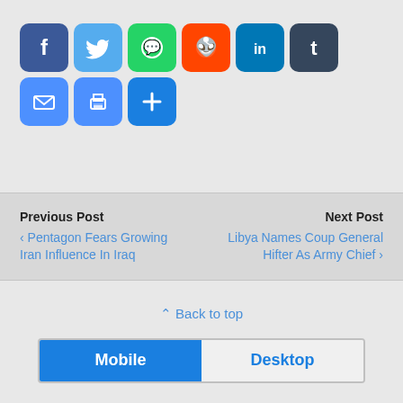[Figure (infographic): Row of social media share buttons: Facebook, Twitter, WhatsApp, Reddit, LinkedIn, Tumblr, Email, Print, and a plus/more button]
Previous Post
‹ Pentagon Fears Growing Iran Influence In Iraq
Next Post
Libya Names Coup General Hifter As Army Chief ›
⇧ Back to top
Mobile | Desktop
All content Copyright Antiwar.com